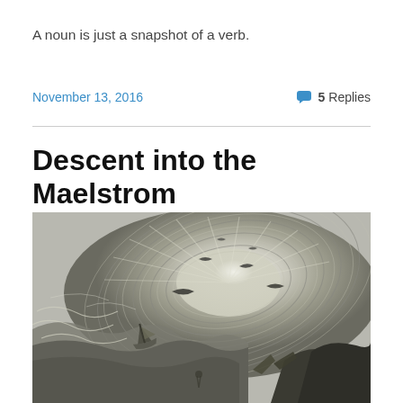A noun is just a snapshot of a verb.
November 13, 2016
5 Replies
Descent into the Maelstrom
[Figure (illustration): A dramatic black-and-white engraving of a massive whirlpool (maelstrom) at sea, with swirling concentric water rings, a central glowing vortex, seabirds flying around the funnel, a small sailing vessel being pulled in, and dark rocky shores in the lower right corner.]